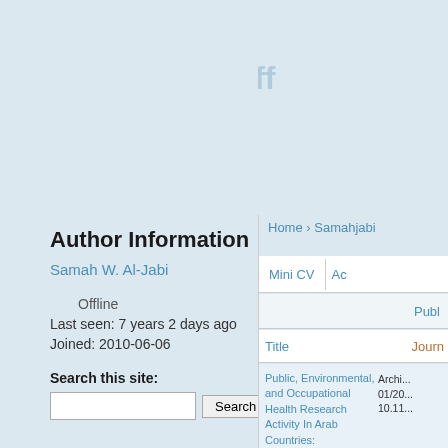An-Najah Staff
Home › Samahjabi
Author Information
Samah W. Al-Jabi
Offline
Last seen: 7 years 2 days ago
Joined: 2010-06-06
Search this site:
| Title | Journ... |
| --- | --- |
| Public, Environmental, and Occupational Health Research Activity In Arab Countries: Bibliometric, Citation, and Collaboration Analysis | Archi... 01/20... 10.11... |
Mini CV
Ac...
Publ...